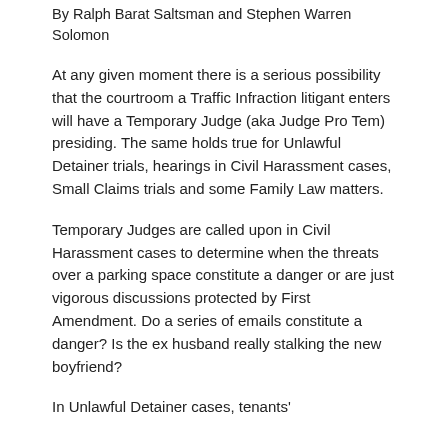By Ralph Barat Saltsman and Stephen Warren Solomon
At any given moment there is a serious possibility that the courtroom a Traffic Infraction litigant enters will have a Temporary Judge (aka Judge Pro Tem) presiding. The same holds true for Unlawful Detainer trials, hearings in Civil Harassment cases, Small Claims trials and some Family Law matters.
Temporary Judges are called upon in Civil Harassment cases to determine when the threats over a parking space constitute a danger or are just vigorous discussions protected by First Amendment. Do a series of emails constitute a danger? Is the ex husband really stalking the new boyfriend?
In Unlawful Detainer cases, tenants'